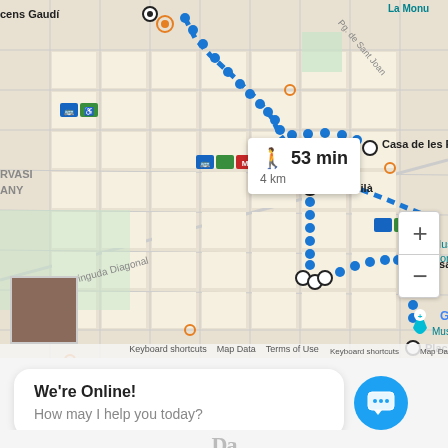[Figure (map): Google Maps screenshot showing a walking route in Barcelona from Recens Gaudí to Plaça de... passing through Casa de les Punxes, Casa Milà, and Casa Calvet. Route shown with blue dots. A route info box shows '53 min / 4 km'. Street labels include Avinguda Diagonal and Pg. de Sant Joan. Notable locations: Passeig de Gràcia, Museu d'Art Contemporani de..., Museu de les Il·lusions, La Monumental. Zoom controls (+/-) visible. Small satellite thumbnail in bottom-left corner. Google logo and attribution at bottom.]
We're Online!
How may I help you today?